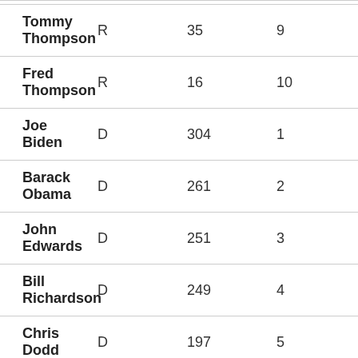| Name | Party | Col3 | Rank |
| --- | --- | --- | --- |
| Tommy Thompson | R | 35 | 9 |
| Fred Thompson | R | 16 | 10 |
| Joe Biden | D | 304 | 1 |
| Barack Obama | D | 261 | 2 |
| John Edwards | D | 251 | 3 |
| Bill Richardson | D | 249 | 4 |
| Chris Dodd | D | 197 | 5 |
| Hilary Clinton | D | 133 | 6 |
| Dennis Kucinich | D | 92 | 7 |